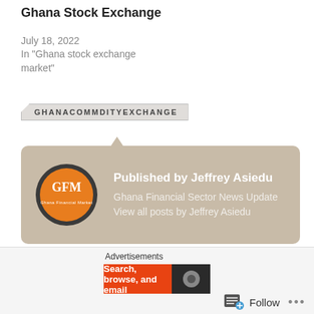Ghana Stock Exchange
July 18, 2022
In "Ghana stock exchange market"
GHANACOMMDITYEXCHANGE
[Figure (infographic): Author card with GFM logo circle, showing 'Published by Jeffrey Asiedu - Ghana Financial Sector News Update View all posts by Jeffrey Asiedu' on a tan/beige background]
Advertisements
Search, browse, and email
Follow ...